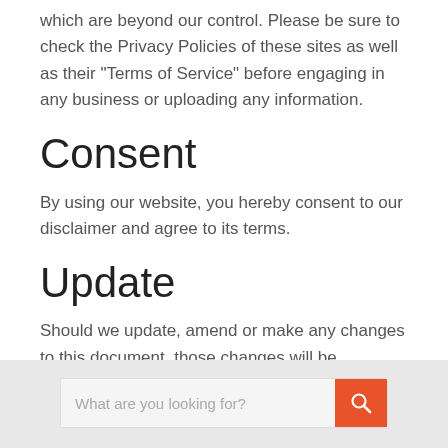which are beyond our control. Please be sure to check the Privacy Policies of these sites as well as their “Terms of Service” before engaging in any business or uploading any information.
Consent
By using our website, you hereby consent to our disclaimer and agree to its terms.
Update
Should we update, amend or make any changes to this document, those changes will be prominently posted here.
[Figure (other): Search box widget with placeholder text 'What are you looking for?' and an orange search button with magnifying glass icon]